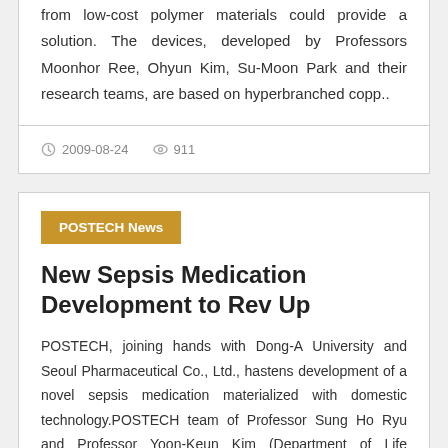from low-cost polymer materials could provide a solution. The devices, developed by Professors Moonhor Ree, Ohyun Kim, Su-Moon Park and their research teams, are based on hyperbranched copp..
2009-08-24   911
POSTECH News
New Sepsis Medication Development to Rev Up
POSTECH, joining hands with Dong-A University and Seoul Pharmaceutical Co., Ltd., hastens development of a novel sepsis medication materialized with domestic technology.POSTECH team of Professor Sung Ho Ryu and Professor Yoon-Keun Kim (Department of Life Science), in a joint research with